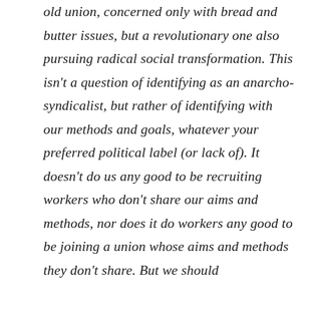old union, concerned only with bread and butter issues, but a revolutionary one also pursuing radical social transformation. This isn't a question of identifying as an anarcho-syndicalist, but rather of identifying with our methods and goals, whatever your preferred political label (or lack of). It doesn't do us any good to be recruiting workers who don't share our aims and methods, nor does it do workers any good to be joining a union whose aims and methods they don't share. But we should